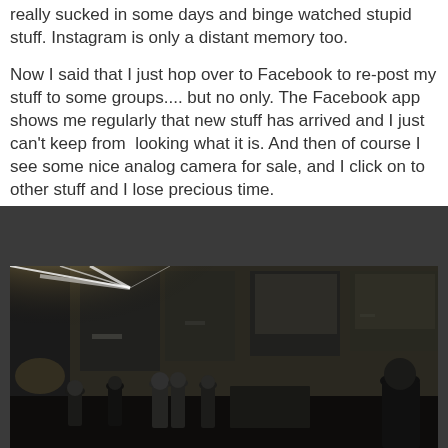really sucked in some days and binge watched stupid stuff. Instagram is only a distant memory too.

Now I said that I just hop over to Facebook to re-post my stuff to some groups.... but no only. The Facebook app shows me regularly that new stuff has arrived and I just can't keep from  looking what it is. And then of course I see some nice analog camera for sale, and I click on to other stuff and I lose precious time.
[Figure (photo): Street scene photograph with strong sunlight/lens flare from upper left, showing people walking in front of a dark building facade. The image is high contrast with bright highlights and deep shadows.]